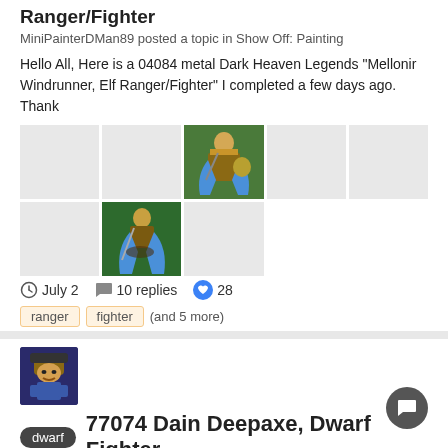Ranger/Fighter
MiniPainterDMan89 posted a topic in Show Off: Painting
Hello All, Here is a 04084 metal Dark Heaven Legends "Mellonir Windrunner, Elf Ranger/Fighter" I completed a few days ago. Thank
[Figure (photo): Grid of miniature figure photos - painted elf ranger/fighter miniatures on green background. Top row: 5 cells, center one showing golden-armored elf with blue cloak and shield. Row 2: 5 cells, second one showing blue-cloaked elf ranger.]
July 2   10 replies   28
ranger
fighter
(and 5 more)
[Figure (photo): Avatar of MiniPainterDMan89 - dwarf character icon in dark blue/purple tones]
77074 Dain Deepaxe, Dwarf Fighter
MiniPainterDMan89 posted a topic in Show Off: Painting